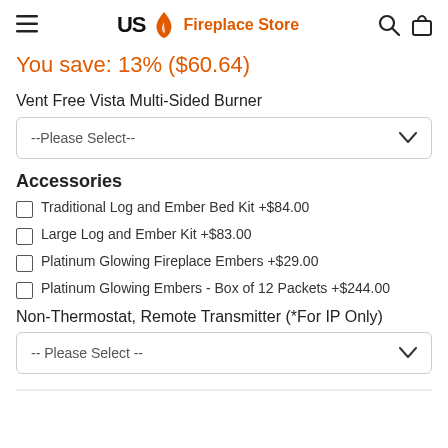US Fireplace Store
You save: 13% ($60.64)
Vent Free Vista Multi-Sided Burner
--Please Select--
Accessories
Traditional Log and Ember Bed Kit +$84.00
Large Log and Ember Kit +$83.00
Platinum Glowing Fireplace Embers +$29.00
Platinum Glowing Embers - Box of 12 Packets +$244.00
Non-Thermostat, Remote Transmitter (*For IP Only)
-- Please Select --
...